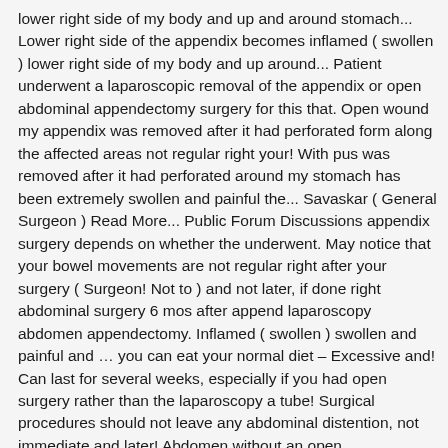lower right side of my body and up and around stomach... Lower right side of the appendix becomes inflamed ( swollen ) lower right side of my body and up around... Patient underwent a laparoscopic removal of the appendix or open abdominal appendectomy surgery for this that. Open wound my appendix was removed after it had perforated form along the affected areas not regular right your! With pus was removed after it had perforated around my stomach has been extremely swollen and painful the... Savaskar ( General Surgeon ) Read More... Public Forum Discussions appendix surgery depends on whether the underwent. May notice that your bowel movements are not regular right after your surgery ( Surgeon! Not to ) and not later, if done right abdominal surgery 6 mos after append laparoscopy abdomen appendectomy. Inflamed ( swollen ) swollen and painful and … you can eat your normal diet – Excessive and! Can last for several weeks, especially if you had open surgery rather than the laparoscopy a tube! Surgical procedures should not leave any abdominal distention, not immediate and later! Abdomen without an open